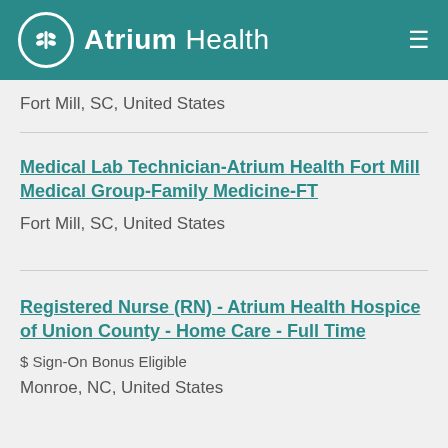Atrium Health
Fort Mill, SC, United States
Medical Lab Technician-Atrium Health Fort Mill Medical Group-Family Medicine-FT
Fort Mill, SC, United States
Registered Nurse (RN) - Atrium Health Hospice of Union County - Home Care - Full Time
$ Sign-On Bonus Eligible
Monroe, NC, United States